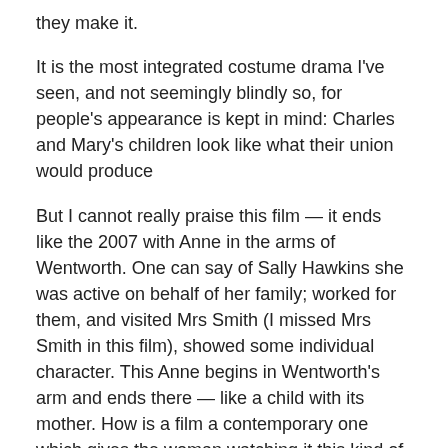they make it.
It is the most integrated costume drama I've seen, and not seemingly blindly so, for people's appearance is kept in mind: Charles and Mary's children look like what their union would produce
But I cannot really praise this film — it ends like the 2007 with Anne in the arms of Wentworth. One can say of Sally Hawkins she was active on behalf of her family; worked for them, and visited Mrs Smith (I missed Mrs Smith in this film), showed some individual character. This Anne begins in Wentworth's arm and ends there — like a child with its mother. How is a film a contemporary one which gives the woman watching it this kind of central figure?
My reader may remember I intensely disliked parts of the